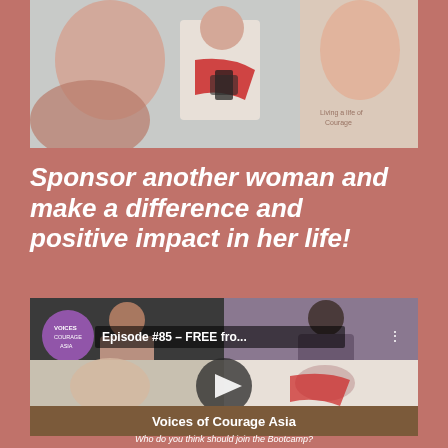[Figure (photo): Top photo showing people at an event, partially cropped, with text 'Living a life of Courage' visible in the background]
Sponsor another woman and make a difference and positive impact in her life!
[Figure (screenshot): YouTube video thumbnail for Episode #85 - FREE fro... from Voices of Courage Asia, showing multiple women in a video call grid layout with a play button overlay. Bottom bar reads 'Voices of Courage Asia']
Who do you think should join the Bootcamp?